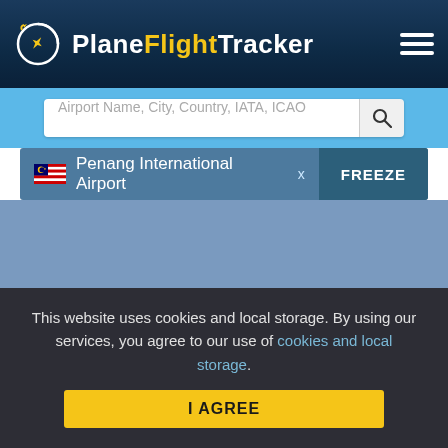PlaneFlightTracker
Airport Name, City, Country, IATA, ICAO
Penang International Airport x   FREEZE
[Figure (screenshot): Blue-grey map area placeholder for Penang International Airport flight tracking view]
This website uses cookies and local storage. By using our services, you agree to our use of cookies and local storage.
I AGREE